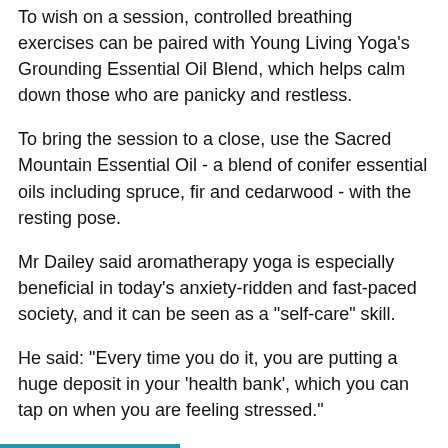To wish on a session, controlled breathing exercises can be paired with Young Living Yoga's Grounding Essential Oil Blend, which helps calm down those who are panicky and restless.
To bring the session to a close, use the Sacred Mountain Essential Oil - a blend of conifer essential oils including spruce, fir and cedarwood - with the resting pose.
Mr Dailey said aromatherapy yoga is especially beneficial in today's anxiety-ridden and fast-paced society, and it can be seen as a "self-care" skill.
He said: "Every time you do it, you are putting a huge deposit in your 'health bank', which you can tap on when you are feeling stressed."